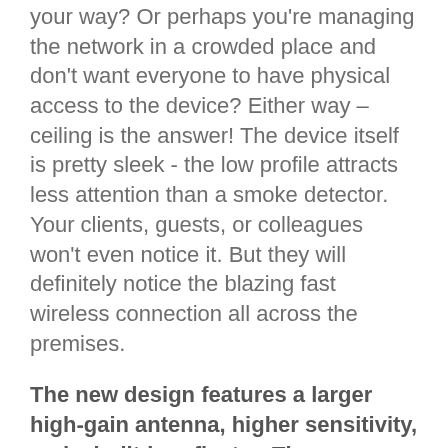your way? Or perhaps you're managing the network in a crowded place and don't want everyone to have physical access to the device? Either way – ceiling is the answer! The device itself is pretty sleek - the low profile attracts less attention than a smoke detector. Your clients, guests, or colleagues won't even notice it. But they will definitely notice the blazing fast wireless connection all across the premises.
The new design features a larger high-gain antenna, higher sensitivity, and a built-in reflector. These improvements allow increasing the covered area by up to 100%, compared to the previous cAP models!
The dual-band, dual-chain 2.4 and 5 GHz wireless radio provides a strong coverage in 360 degrees around it, so you don't have to worry about the placement of the device so much. Putting it on the ceiling eliminates many signal absorption problems, such as the signal being blocked by large TV sets, metal cubicle walls in open space